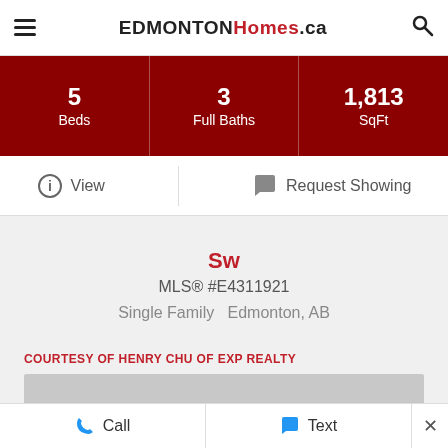EDMONTON Homes.ca
| Beds | Full Baths | SqFt |
| --- | --- | --- |
| 5 | 3 | 1,813 |
View   Request Showing
Sw
MLS® #E4311921
Single Family  Edmonton, AB
COURTESY OF HENRY CHU OF EXP REALTY
[Figure (photo): Gray placeholder for property photo]
Call   Text   ×